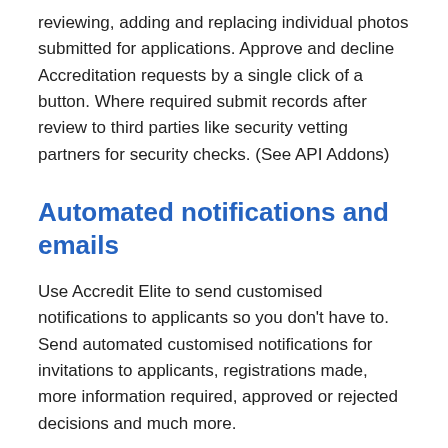reviewing, adding and replacing individual photos submitted for applications. Approve and decline Accreditation requests by a single click of a button. Where required submit records after review to third parties like security vetting partners for security checks. (See API Addons)
Automated notifications and emails
Use Accredit Elite to send customised notifications to applicants so you don't have to. Send automated customised notifications for invitations to applicants, registrations made, more information required, approved or rejected decisions and much more.
Reports and Export data